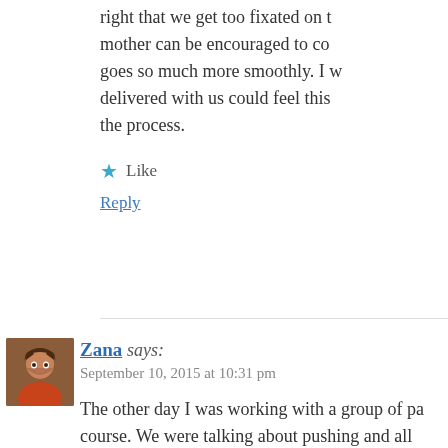right that we get too fixated on t mother can be encouraged to co goes so much more smoothly. I w delivered with us could feel this the process.
Like
Reply
Zana says: September 10, 2015 at 10:31 pm
The other day I was working with a group of pa course. We were talking about pushing and all directed pushing. Some found it hard to believe how and why it was helpful to listen to their bo with, not against, the messages from their bodi accept that there is no evidence to support the